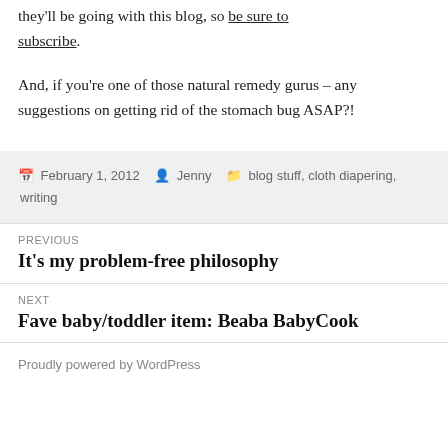they'll be going with this blog, so be sure to subscribe.
And, if you're one of those natural remedy gurus – any suggestions on getting rid of the stomach bug ASAP?!
Posted February 1, 2012   Author Jenny   Categories blog stuff, cloth diapering, writing
Previous
It's my problem-free philosophy
Next
Fave baby/toddler item: Beaba BabyCook
Proudly powered by WordPress